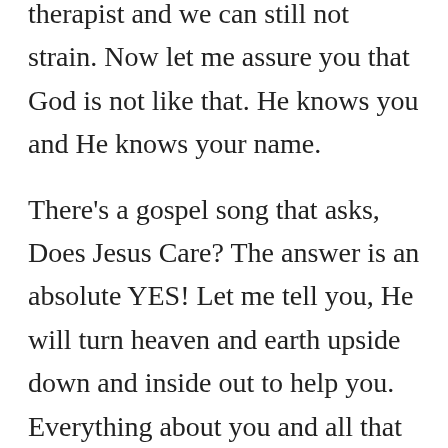therapist and we can still not strain. Now let me assure you that God is not like that. He knows you and He knows your name.
There’s a gospel song that asks, Does Jesus Care? The answer is an absolute YES! Let me tell you, He will turn heaven and earth upside down and inside out to help you. Everything about you and all that happens to you is of vital interest to God.
Sometimes people get tired of hearing our problems, especially if they last a long time. Others are willing to help us for a time and then soon their love runs out of breath. It’s not that